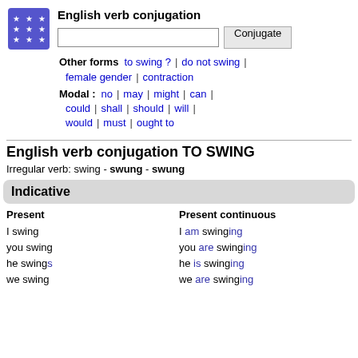English verb conjugation
Other forms | to swing ? | do not swing | female gender | contraction
Modal : no | may | might | can | could | shall | should | will | would | must | ought to
English verb conjugation TO SWING
Irregular verb: swing - swung - swung
Indicative
| Present | Present continuous |
| --- | --- |
| I swing | I am swinging |
| you swing | you are swinging |
| he swings | he is swinging |
| we swing | we are swinging |